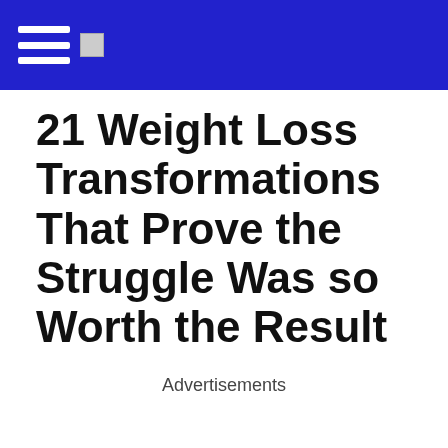21 Weight Loss Transformations That Prove the Struggle Was so Worth the Result
Advertisements